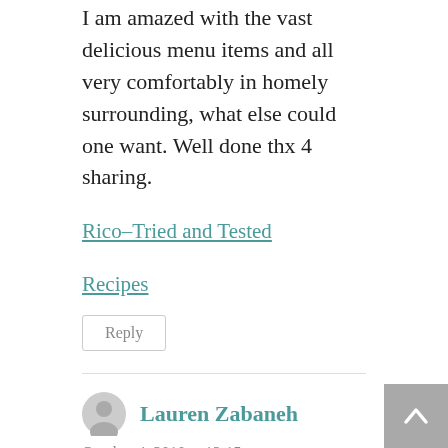I am amazed with the vast delicious menu items and all very comfortably in homely surrounding, what else could one want. Well done thx 4 sharing.
Rico–Tried and Tested
Recipes
Reply
Lauren Zabaneh
October 4, 2010 at 12:15 pm
Oh Lori Lynn…girl, you know how to throw a